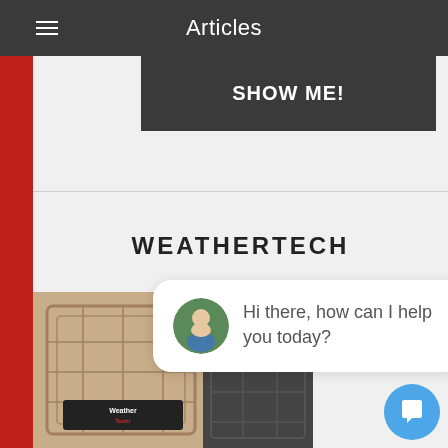Articles
SHOW ME!
WEATHERTECH
[Figure (photo): WeatherTech floor mats in tan/beige color with logo, and dark floor mat on the right]
[Figure (screenshot): Chat widget showing a man's avatar and the message: Hi there, how can I help you today?]